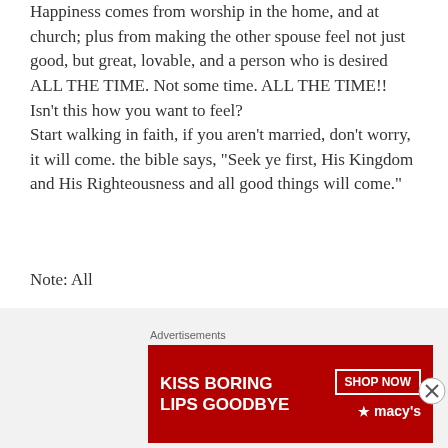Happiness comes from worship in the home, and at church; plus from making the other spouse feel not just good, but great, lovable, and a person who is desired ALL THE TIME. Not some time. ALL THE TIME!! Isn't this how you want to feel? Start walking in faith, if you aren't married, don't worry, it will come. the bible says, "Seek ye first, His Kingdom and His Righteousness and all good things will come."
Note: All
Walter West is presented incarcerated and in his 20th year and only 36 yrs old. He enjoys reading, writes poetry, and is currently working on his first novel. If you have any questions concerning this text,
[Figure (infographic): Advertisement banner for Macy's lipstick with text 'KISS BORING LIPS GOODBYE' and 'SHOP NOW' button, featuring a woman's face with red lipstick]